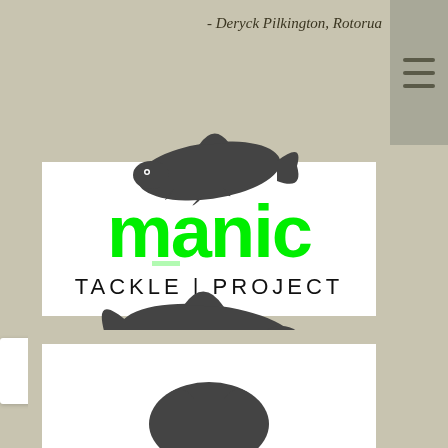- Deryck Pilkington, Rotorua
[Figure (logo): Manic Tackle Project logo featuring two fish silhouettes in dark gray above and below the text 'manic' in large bright green lowercase letters, with 'TACKLE | PROJECT' in black spaced capitals beneath]
Privacy · Terms